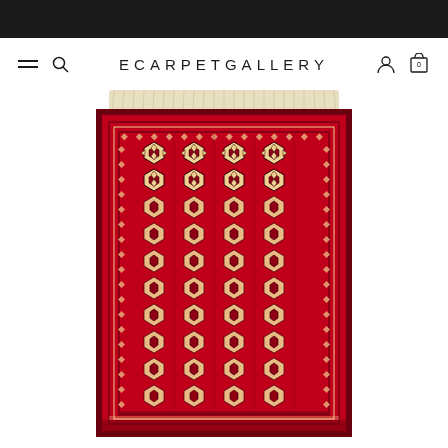ECARPETGALLERY
[Figure (photo): A red Bokhara/Turkmen style rug with cream fringe along the top edge. The rug features a deep red background with repeating rows of geometric elephant foot (gul) motifs in cream/ivory, black, and dark navy. The design includes multiple rows of stylized octagonal medallions with angular S-shaped or hourglass figures arranged in a grid pattern, surrounded by a narrow geometric border.]